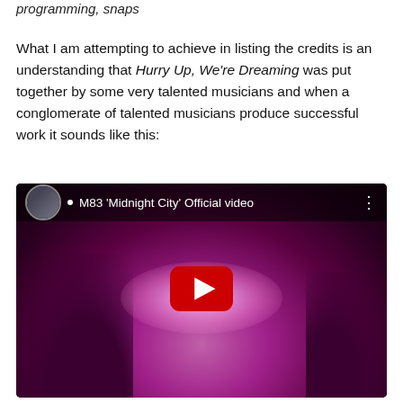programming, snaps
What I am attempting to achieve in listing the credits is an understanding that Hurry Up, We're Dreaming was put together by some very talented musicians and when a conglomerate of talented musicians produce successful work it sounds like this:
[Figure (screenshot): YouTube video thumbnail for M83 'Midnight City' Official video, showing two silhouetted figures in a purple/pink lit scene with a YouTube play button overlay.]